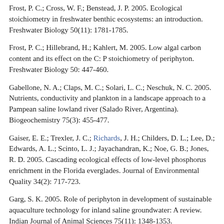Frost, P. C.; Cross, W. F.; Benstead, J. P. 2005. Ecological stoichiometry in freshwater benthic ecosystems: an introduction. Freshwater Biology 50(11): 1781-1785.
Frost, P. C.; Hillebrand, H.; Kahlert, M. 2005. Low algal carbon content and its effect on the C: P stoichiometry of periphyton. Freshwater Biology 50: 447-460.
Gabellone, N. A.; Claps, M. C.; Solari, L. C.; Neschuk, N. C. 2005. Nutrients, conductivity and plankton in a landscape approach to a Pampean saline lowland river (Salado River, Argentina). Biogeochemistry 75(3): 455-477.
Gaiser, E. E.; Trexler, J. C.; Richards, J. H.; Childers, D. L.; Lee, D.; Edwards, A. L.; Scinto, L. J.; Jayachandran, K.; Noe, G. B.; Jones, R. D. 2005. Cascading ecological effects of low-level phosphorus enrichment in the Florida everglades. Journal of Environmental Quality 34(2): 717-723.
Garg, S. K. 2005. Role of periphyton in development of sustainable aquaculture technology for inland saline groundwater: A review. Indian Journal of Animal Sciences 75(11): 1348-1353.
Gell, P. A.; Bulpin, S.; Wallbrink, P.; Hancock, G.; Bickford, S. 2005. Tareena Billabong - a palaeolimnological history of an ever-